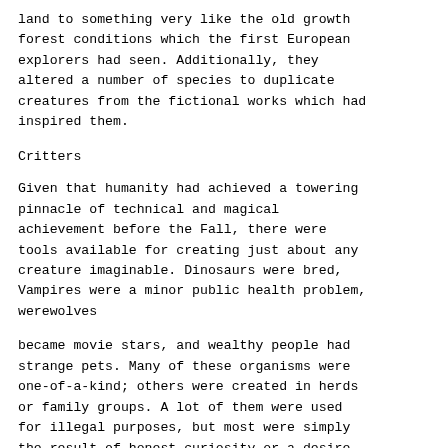land to something very like the old growth forest conditions which the first European explorers had seen. Additionally, they altered a number of species to duplicate creatures from the fictional works which had inspired them.
Critters
Given that humanity had achieved a towering pinnacle of technical and magical achievement before the Fall, there were tools available for creating just about any creature imaginable. Dinosaurs were bred, Vampires were a minor public health problem, werewolves
became movie stars, and wealthy people had strange pets. Many of these organisms were one-of-a-kind; others were created in herds or family groups. A lot of them were used for illegal purposes, but most were simply the result of honest curiosity or a desire to make something unusual. As society collapsed, the controls vanished, and even more outrageous products of the